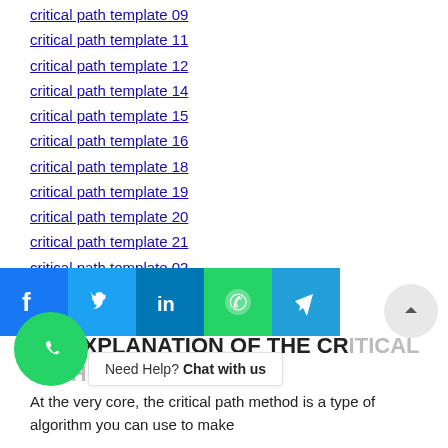critical path template 09
critical path template 11
critical path template 12
critical path template 14
critical path template 15
critical path template 16
critical path template 18
critical path template 19
critical path template 20
critical path template 21
critical path template 02
critical path template 03
***
AN EXPLANATION OF THE CRITICAL PATH
At the very core, the critical path method is a type of algorithm you can use to make